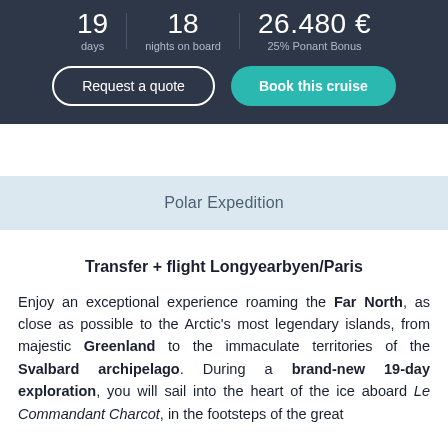19 days | 18 nights on board | 26.480 € 25% Ponant Bonus
Request a quote | Book this cruise
Polar Expedition
Transfer + flight Longyearbyen/Paris
Enjoy an exceptional experience roaming the Far North, as close as possible to the Arctic's most legendary islands, from majestic Greenland to the immaculate territories of the Svalbard archipelago. During a brand-new 19-day exploration, you will sail into the heart of the ice aboard Le Commandant Charcot, in the footsteps of the great